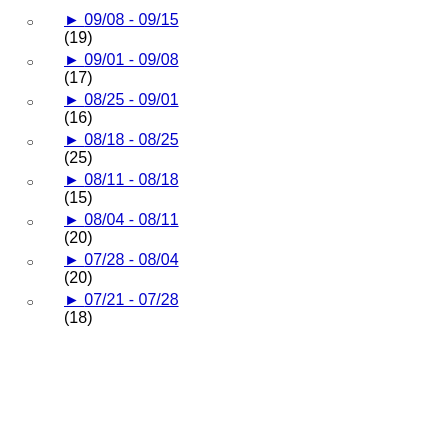(15)
► 09/08 - 09/15 (19)
► 09/01 - 09/08 (17)
► 08/25 - 09/01 (16)
► 08/18 - 08/25 (25)
► 08/11 - 08/18 (15)
► 08/04 - 08/11 (20)
► 07/28 - 08/04 (20)
► 07/21 - 07/28 (18)